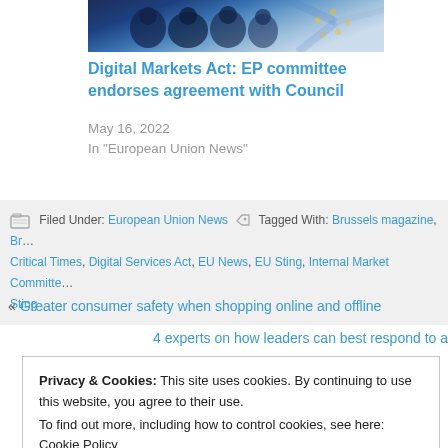[Figure (photo): Partial photo of people, possibly EU officials, with blue EU flag imagery in background]
Digital Markets Act: EP committee endorses agreement with Council
May 16, 2022
In "European Union News"
Filed Under: European Union News   Tagged With: Brussels magazine, Br... Critical Times, Digital Services Act, EU News, EU Sting, Internal Market Committe... Sting
« Greater consumer safety when shopping online and offline
4 experts on how leaders can best respond to a
Privacy & Cookies: This site uses cookies. By continuing to use this website, you agree to their use.
To find out more, including how to control cookies, see here: Cookie Policy
Close and accept